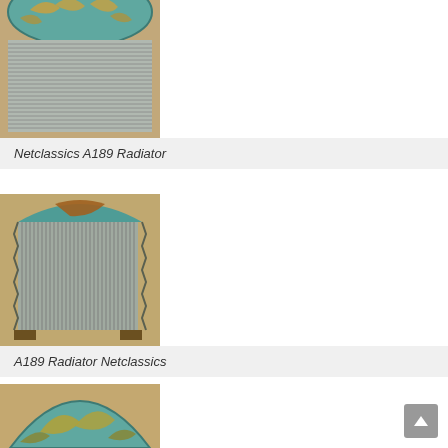[Figure (photo): Close-up photo of a vintage car radiator (Netclassics A189) showing teal/blue painted ornamental top with gold decorative elements and horizontal metal grill fins below]
Netclassics A189 Radiator
[Figure (photo): Photo of another vintage car radiator (A189) showing teal ornamental top with ornament figure, and vertical metal fins/core, with mounting feet visible at bottom]
A189 Radiator Netclassics
[Figure (photo): Partial photo of a third vintage radiator showing top portion with teal painted arc and ornamental decorations, partially cropped at bottom of page]